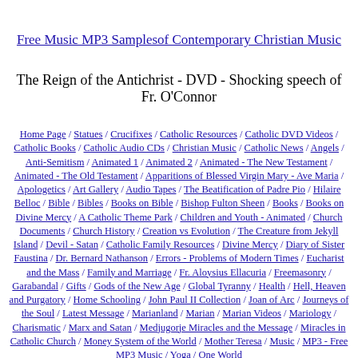Free Music MP3 Samplesof Contemporary Christian Music
The Reign of the Antichrist - DVD - Shocking speech of Fr. O'Connor
Home Page / Statues / Crucifixes / Catholic Resources / Catholic DVD Videos / Catholic Books / Catholic Audio CDs / Christian Music / Catholic News / Angels / Anti-Semitism / Animated 1 / Animated 2 / Animated - The New Testament / Animated - The Old Testament / Apparitions of Blessed Virgin Mary - Ave Maria / Apologetics / Art Gallery / Audio Tapes / The Beatification of Padre Pio / Hilaire Belloc / Bible / Bibles / Books on Bible / Bishop Fulton Sheen / Books / Books on Divine Mercy / A Catholic Theme Park / Children and Youth - Animated / Church Documents / Church History / Creation vs Evolution / The Creature from Jekyll Island / Devil - Satan / Catholic Family Resources / Divine Mercy / Diary of Sister Faustina / Dr. Bernard Nathanson / Errors - Problems of Modern Times / Eucharist and the Mass / Family and Marriage / Fr. Aloysius Ellacuria / Freemasonry / Garabandal / Gifts / Gods of the New Age / Global Tyranny / Health / Hell, Heaven and Purgatory / Home Schooling / John Paul II Collection / Joan of Arc / Journeys of the Soul / Latest Message / Marianland / Marian / Marian Videos / Mariology / Charismatic / Marx and Satan / Medjugorje Miracles and the Message / Miracles in Catholic Church / Money System of the World / Mother Teresa / Music / MP3 - Free MP3 Music / Yoga / One World